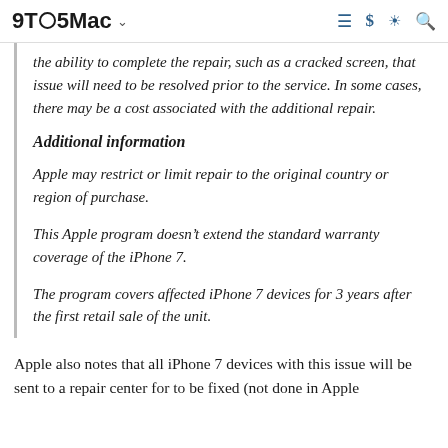9TO5Mac
the ability to complete the repair, such as a cracked screen, that issue will need to be resolved prior to the service. In some cases, there may be a cost associated with the additional repair.
Additional information
Apple may restrict or limit repair to the original country or region of purchase.
This Apple program doesn’t extend the standard warranty coverage of the iPhone 7.
The program covers affected iPhone 7 devices for 3 years after the first retail sale of the unit.
Apple also notes that all iPhone 7 devices with this issue will be sent to a repair center for to be fixed (not done in Apple